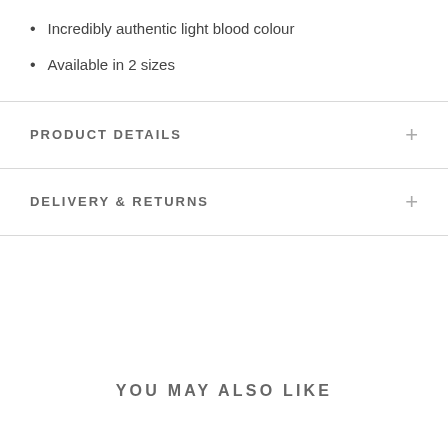Incredibly authentic light blood colour
Available in 2 sizes
PRODUCT DETAILS
DELIVERY & RETURNS
YOU MAY ALSO LIKE